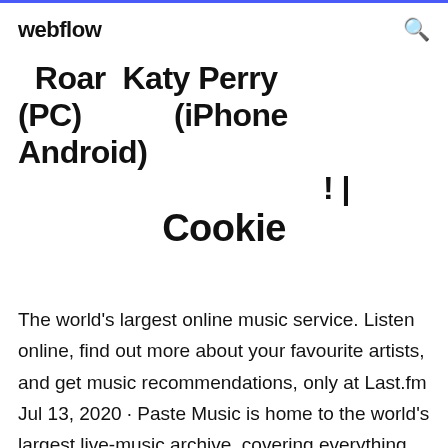webflow
Roar Katy Perry (PC) (iPhone Android) ! | Cookie
The world's largest online music service. Listen online, find out more about your favourite artists, and get music recommendations, only at Last.fm Jul 13, 2020 · Paste Music is home to the world's largest live-music archive, covering everything from rock and jazz to hip hop, country and pop. Download virgoun surat cinta untuk starla karaoke youtube. Download